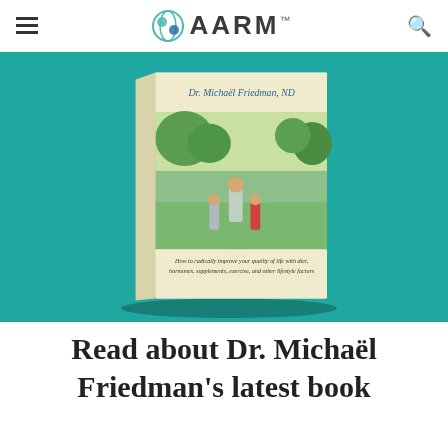AARM™
[Figure (photo): A 3D book cover showing Dr. Michaël Friedman, ND as author. The cover features a photo of a man walking with two children on a path through green nature. Text on cover reads: 'How to radically improve your quality of life with diet, hormones, supplements, exercise, and other lifestyle factors']
Read about Dr. Michaël Friedman's latest book